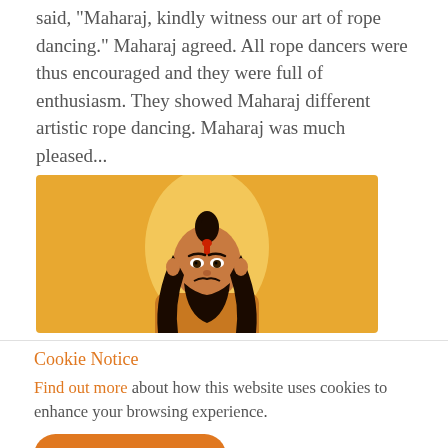said, "Maharaj, kindly witness our art of rope dancing." Maharaj agreed. All rope dancers were thus encouraged and they were full of enthusiasm. They showed Maharaj different artistic rope dancing. Maharaj was much pleased...
[Figure (illustration): Illustration of a bearded Indian sage/maharaj figure with long dark hair, wearing a tilak on forehead, dressed in ochre/saffron robes, depicted against a golden glowing halo background on an orange-yellow flat color background.]
Cookie Notice
Find out more about how this website uses cookies to enhance your browsing experience.